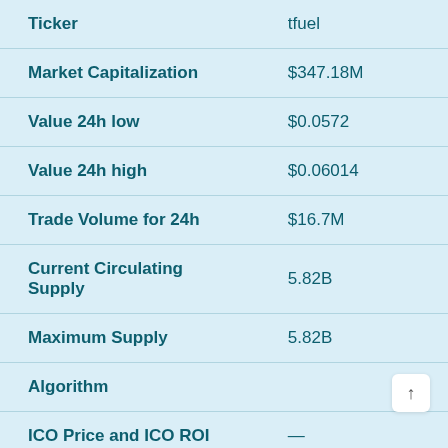| Field | Value |
| --- | --- |
| Ticker | tfuel |
| Market Capitalization | $347.18M |
| Value 24h low | $0.0572 |
| Value 24h high | $0.06014 |
| Trade Volume for 24h | $16.7M |
| Current Circulating Supply | 5.82B |
| Maximum Supply | 5.82B |
| Algorithm |  |
| ICO Price and ICO ROI | — |